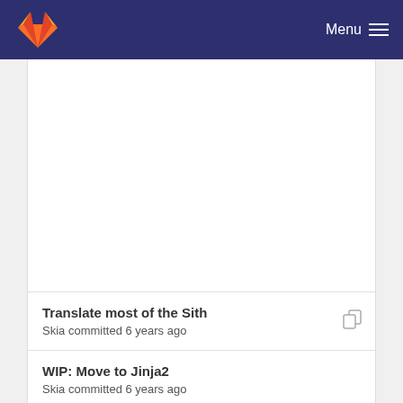Menu
Translate most of the Sith
Skia committed 6 years ago
WIP: Move to Jinja2
Skia committed 6 years ago